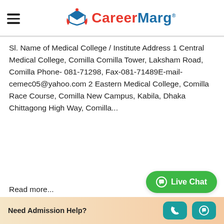CareerMarg
Sl. Name of Medical College / Institute Address 1 Central Medical College, Comilla Comilla Tower, Laksham Road, Comilla Phone- 081-71298, Fax-081-71489E-mail- cemec05@yahoo.com 2 Eastern Medical College, Comilla Race Course, Comilla New Campus, Kabila, Dhaka Chittagong High Way, Comilla...
Read more...
> No More Posts...
Need Admission Help?